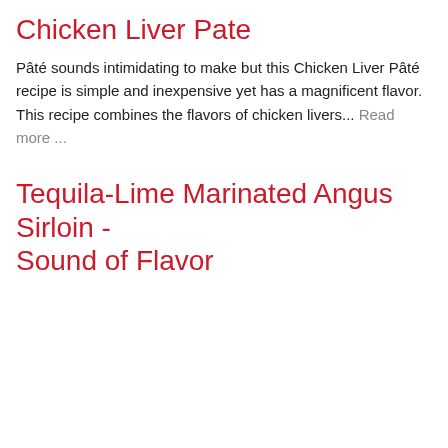Chicken Liver Pate
Pâté sounds intimidating to make but this Chicken Liver Pâté recipe is simple and inexpensive yet has a magnificent flavor. This recipe combines the flavors of chicken livers... Read more ...
Tequila-Lime Marinated Angus Sirloin - Sound of Flavor